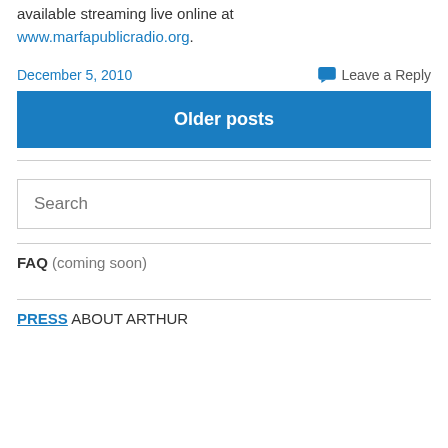available streaming live online at www.marfapublicradio.org.
December 5, 2010   Leave a Reply
Older posts
Search
FAQ (coming soon)
PRESS ABOUT ARTHUR